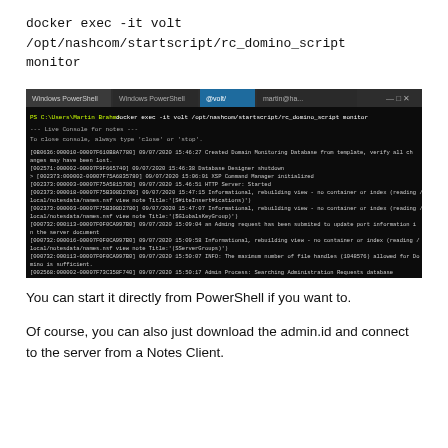docker exec -it volt /opt/nashcom/startscript/rc_domino_script monitor
[Figure (screenshot): Terminal/PowerShell window showing a Docker exec command running the Domino monitor script, with console output showing Live Console for notes, database designer shutdown, HTTP server started, and various informational messages about rebuilding views and server operations.]
You can start it directly from PowerShell if you want to.
Of course, you can also just download the admin.id and connect to the server from a Notes Client.